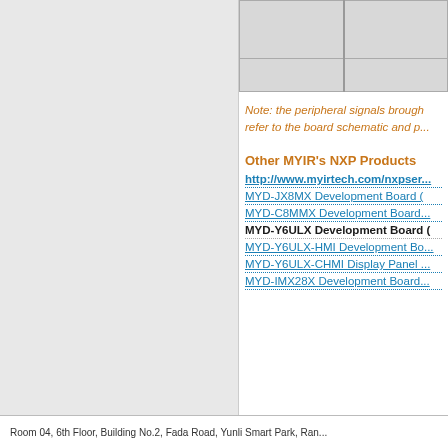[Figure (table-as-image): Partial table with gray cells visible at top right of page]
Note: the peripheral signals brough... refer to the board schematic and p...
Other MYIR's NXP Products
http://www.myirtech.com/nxpser...
MYD-JX8MX Development Board (
MYD-C8MMX Development Board...
MYD-Y6ULX Development Board (
MYD-Y6ULX-HMI Development Bo...
MYD-Y6ULX-CHMI Display Panel ...
MYD-IMX28X Development Board...
Room 04, 6th Floor, Building No.2, Fada Road, Yunli Smart Park, Ran...